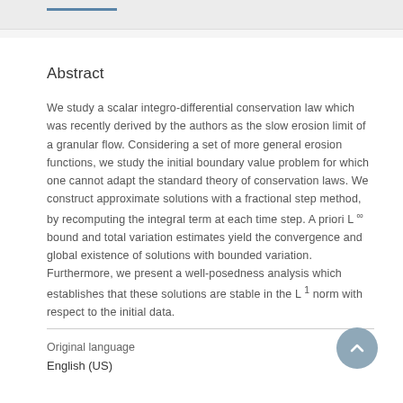Abstract
We study a scalar integro-differential conservation law which was recently derived by the authors as the slow erosion limit of a granular flow. Considering a set of more general erosion functions, we study the initial boundary value problem for which one cannot adapt the standard theory of conservation laws. We construct approximate solutions with a fractional step method, by recomputing the integral term at each time step. A priori L∞ bound and total variation estimates yield the convergence and global existence of solutions with bounded variation. Furthermore, we present a well-posedness analysis which establishes that these solutions are stable in the L1 norm with respect to the initial data.
Original language
English (US)